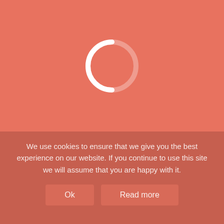[Figure (other): Loading spinner ring on a coral/salmon red background. The ring is mostly white with a faded arc on the right side indicating a loading state.]
We use cookies to ensure that we give you the best experience on our website. If you continue to use this site we will assume that you are happy with it.
Ok
Read more